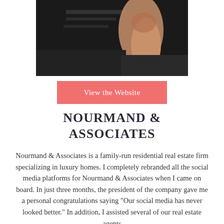[Figure (photo): A partial photograph showing what appears to be a person's arm/hand near a dark background with some shelving or surfaces visible.]
View the Website
NOURMAND & ASSOCIATES
Nourmand & Associates is a family-run residential real estate firm specializing in luxury homes. I completely rebranded all the social media platforms for Nourmand & Associates when I came on board. In just three months, the president of the company gave me a personal congratulations saying "Our social media has never looked better." In addition, I assisted several of our real estate agents